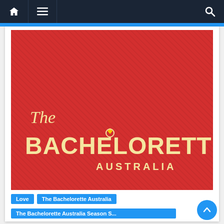Navigation bar with home, menu, and search icons
[Figure (logo): The Bachelorette Australia logo on red diagonal-striped background. Shows script 'The' above bold 'BACHELORETTE' with a diamond ring icon above the O, and 'AUSTRALIA' below in spaced capitals. Text is cream/gold colored on red.]
Love
The Bachelorette Australia
The Bachelorette Australia Season 6...